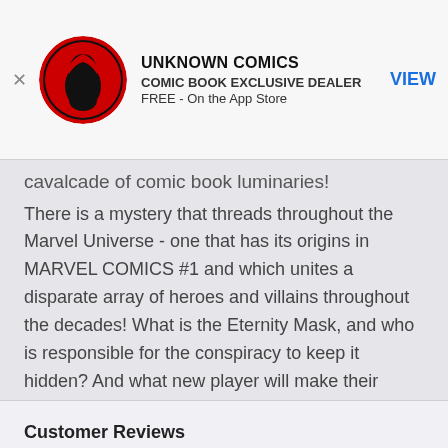[Figure (logo): Unknown Comics app advertisement banner with circular red and black logo, title UNKNOWN COMICS, subtitle COMIC BOOK EXCLUSIVE DEALER, FREE - On the App Store, and VIEW button]
cavalcade of comic book luminaries!
There is a mystery that threads throughout the Marvel Universe - one that has its origins in MARVEL COMICS #1 and which unites a disparate array of heroes and villains throughout the decades! What is the Eternity Mask, and who is responsible for the conspiracy to keep it hidden? And what new player will make their startling debut as these secrets are peeled away? Featuring the entirety of the Marvel Universe of characters!
Rated T
PERFECTBOUND FORMAT!
[Figure (illustration): Red circular button with white star icon]
Customer Reviews